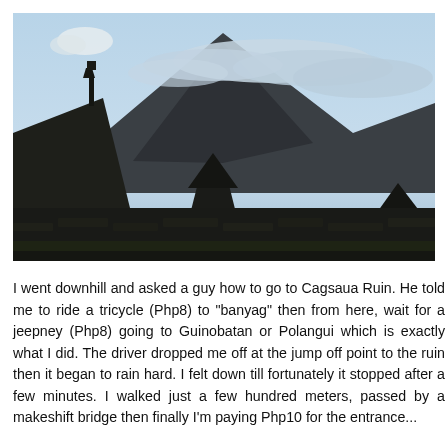[Figure (photo): Outdoor landscape photo showing stone ruins or walls in the foreground with a large volcanic mountain (likely Mayon Volcano) in the background partially covered by clouds, under a light blue sky.]
I went downhill and asked a guy how to go to Cagsaua Ruin. He told me to ride a tricycle (Php8) to "banyag" then from here, wait for a jeepney (Php8) going to Guinobatan or Polangui which is exactly what I did. The driver dropped me off at the jump off point to the ruin then it began to rain hard. I felt down till fortunately it stopped after a few minutes. I walked just a few hundred meters, passed by a makeshift bridge then finally I'm paying Php10 for the entrance...